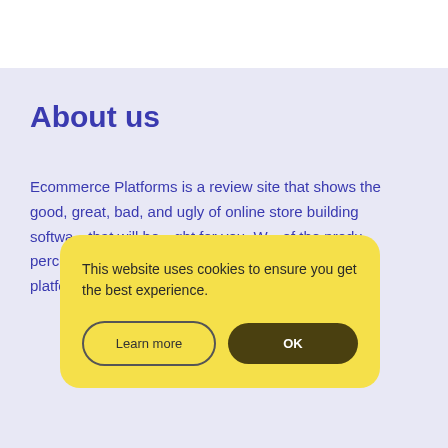About us
Ecommerce Platforms is a review site that shows the good, great, bad, and ugly of online store building softwa…that will he…ght for you. W…of the produ…perce…t no cost t…comm…-platforms.com and ENJOY
This website uses cookies to ensure you get the best experience.
Learn more
OK